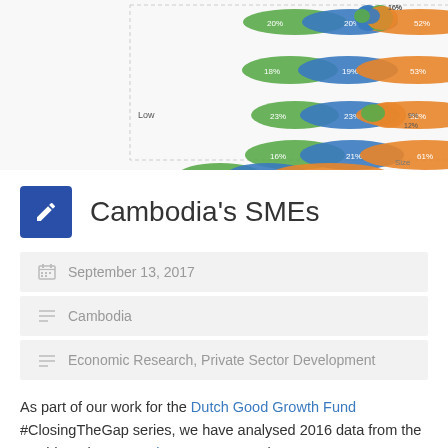[Figure (other): Partial view of a comparative bubble/ellipse chart with green, blue, and orange segments labeled with percentages. Axes labeled 'Low' on left side. Small pie charts visible on right side.]
Cambodia's SMEs
September 13, 2017
Cambodia
Economic Research, Private Sector Development
As part of our work for the Dutch Good Growth Fund #ClosingTheGap series, we have analysed 2016 data from the World Bank's Enterprise Surveys to paint a